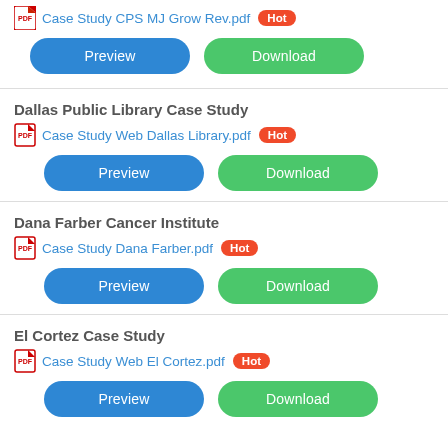Case Study CPS MJ Grow Rev.pdf  Hot
Preview  Download
Dallas Public Library Case Study
Case Study Web Dallas Library.pdf  Hot
Preview  Download
Dana Farber Cancer Institute
Case Study Dana Farber.pdf  Hot
Preview  Download
El Cortez Case Study
Case Study Web El Cortez.pdf  Hot
Preview  Download